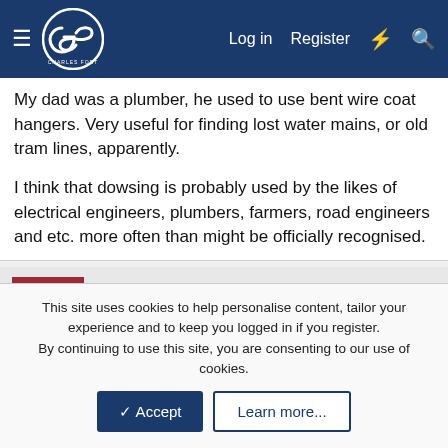Charles Fort Institute — Log in | Register
My dad was a plumber, he used to use bent wire coat hangers. Very useful for finding lost water mains, or old tram lines, apparently.

I think that dowsing is probably used by the likes of electrical engineers, plumbers, farmers, road engineers and etc. more often than might be officially recognised.
ginoide
Abominable Snowman
Nov 30, 2011  #146
i once met a guy from sardinia who told me it was common
This site uses cookies to help personalise content, tailor your experience and to keep you logged in if you register.
By continuing to use this site, you are consenting to our use of cookies.